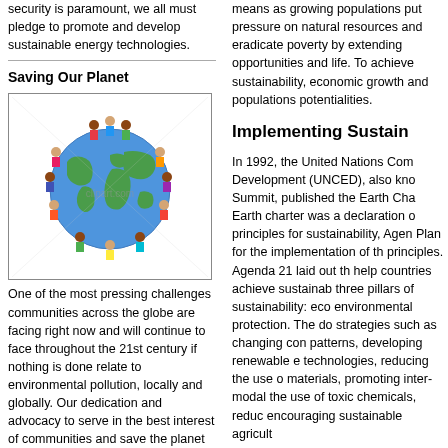security is paramount, we all must pledge to promote and develop sustainable energy technologies.
Saving Our Planet
[Figure (illustration): Colorful cartoon children of diverse ethnicities holding hands in a circle around a globe/Earth illustration, with a watermark reading 'clipart.com']
One of the most pressing challenges communities across the globe are facing right now and will continue to face throughout the 21st century if nothing is done relate to environmental pollution, locally and globally. Our dedication and advocacy to serve in the best interest of communities and save the planet are at the center of our
means as growing populations put pressure on natural resources and eradicate poverty by extending opportunities and life. To achieve sustainability, economic growth and populations potentialities.
Implementing Sustain
In 1992, the United Nations Com Development (UNCED), also kno Summit, published the Earth Cha Earth charter was a declaration o principles for sustainability, Agen Plan for the implementation of th principles. Agenda 21 laid out th help countries achieve sustainab three pillars of sustainability: eco environmental protection. The do strategies such as changing con patterns, developing renewable e technologies, reducing the use o materials, promoting inter-modal the use of toxic chemicals, reduc encouraging sustainable agricult
In 2002, ten years after the first